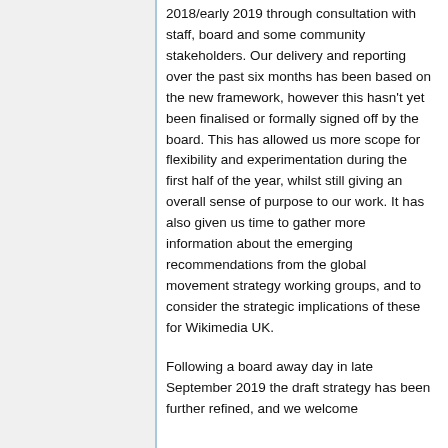2018/early 2019 through consultation with staff, board and some community stakeholders. Our delivery and reporting over the past six months has been based on the new framework, however this hasn't yet been finalised or formally signed off by the board. This has allowed us more scope for flexibility and experimentation during the first half of the year, whilst still giving an overall sense of purpose to our work. It has also given us time to gather more information about the emerging recommendations from the global movement strategy working groups, and to consider the strategic implications of these for Wikimedia UK.
Following a board away day in late September 2019 the draft strategy has been further refined, and we welcome